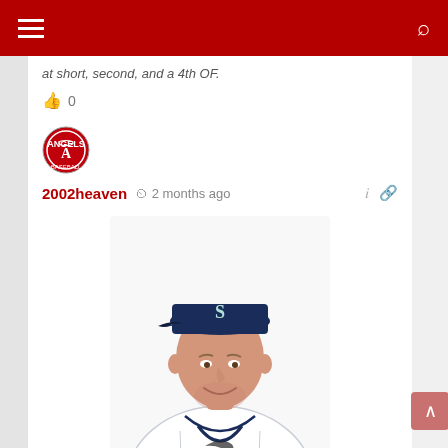Navigation bar with hamburger menu and search icon
at short, second, and a 4th OF.
0
[Figure (logo): Angels Baseball circular logo in red and white]
2002heaven  2 months ago
[Figure (photo): Baseball player wearing Seattle Mariners white uniform and dark navy cap with S logo, headshot photo]
&w=350&h=254
how about a 1yr OLIGARCH?